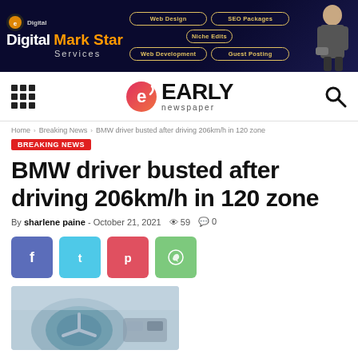[Figure (infographic): Digital Mark Star Services banner advertisement with service buttons: Web Design, SEO Packages, Niche Edits, Web Development, Guest Posting, and a person figure on the right.]
[Figure (logo): Early Newspaper logo with stylized 'e' icon in red/pink gradient, bold EARLY text and 'newspaper' in smaller letters below.]
Home > Breaking News > BMW driver busted after driving 206km/h in 120 zone
BREAKING NEWS
BMW driver busted after driving 206km/h in 120 zone
By sharlene paine - October 21, 2021  59  0
[Figure (infographic): Social share buttons: Facebook (blue), Twitter (light blue), Pinterest (red), WhatsApp (green)]
[Figure (photo): Partial photo of a car interior showing steering wheel and dashboard]